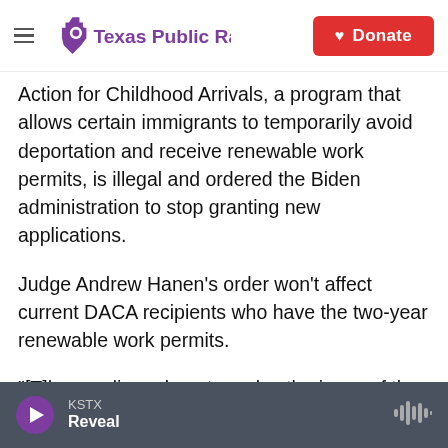Texas Public Radio | Donate
Action for Childhood Arrivals, a program that allows certain immigrants to temporarily avoid deportation and receive renewable work permits, is illegal and ordered the Biden administration to stop granting new applications.
Judge Andrew Hanen’s order won’t affect current DACA recipients who have the two-year renewable work permits.
“[T]hese rulings do not resolve the issue of the hundreds of thousands of DACA recipients and others who have relied upon this program for almost a decade,” Hanen’s order says. “That
KSTX | Reveal